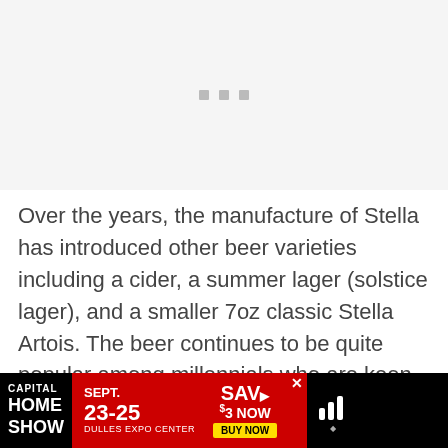[Figure (other): Placeholder image area with three small gray squares/dots centered]
Over the years, the manufacture of Stella has introduced other beer varieties including a cider, a summer lager (solstice lager), and a smaller 7oz classic Stella Artois. The beer continues to be quite popular among millennials who are keen on enjoying an easy drinker that is seen as sophisticated and out of
[Figure (other): Advertisement banner: CAPITAL HOME SHOW SEPT. 23-25 DULLES EXPO CENTER SAV $3 NOW BUY NOW]